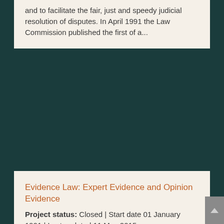and to facilitate the fair, just and speedy judicial resolution of disputes. In April 1991 the Law Commission published the first of a...
Evidence Law: Expert Evidence and Opinion Evidence
Project status: Closed | Start date 01 January 1991 | Last updated 11 May 2015
The purpose of this project is to make the law of evidence as clear, simple and accessible as practicable, and to facilitate the fair, just and speedy judicial resolution of disputes. In April 1991 the Law Commission published the first of